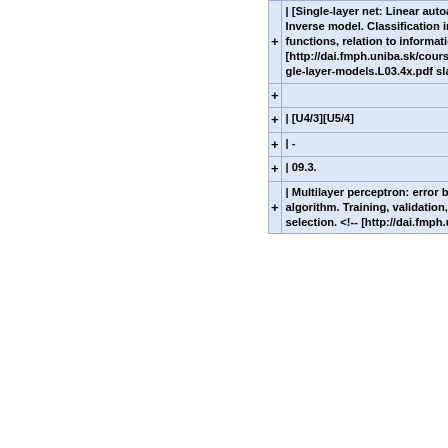| + | | [Single-layer net: Linear autoassociation: General Inverse model. Classification into n-classes. Error functions, relation to information theory . <!-- [http://dai.fmph.uniba.sk/courses/NN/Lectures/nn.single-layer-models.L03.4x.pdf slajdy-L03]--> |
| + |  |
| + | | [U4/3][U5/4] |
| + | | - |
| + | | 09.3. |
| + | | Multilayer perceptron: error back-propagation algorithm. Training, validation, testing. Model selection.  <!-- [http://dai.fmph.uniba.sk/c |